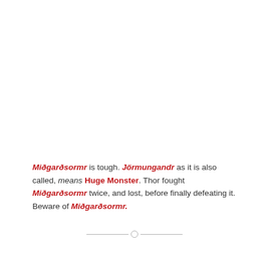Miðgarðsormr is tough. Jörmungandr as it is also called, means Huge Monster. Thor fought Miðgarðsormr twice, and lost, before finally defeating it. Beware of Miðgarðsormr.
— o —